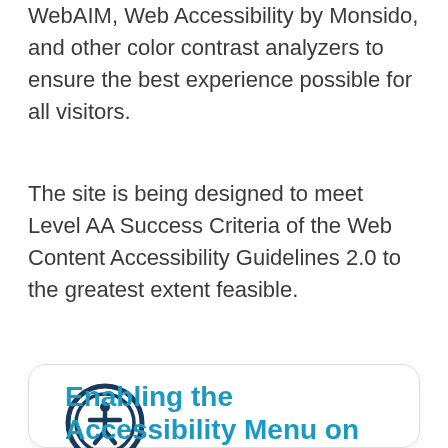WebAIM, Web Accessibility by Monsido, and other color contrast analyzers to ensure the best experience possible for all visitors.
The site is being designed to meet Level AA Success Criteria of the Web Content Accessibility Guidelines 2.0 to the greatest extent feasible.
[Figure (illustration): Accessibility icon: a circular icon with a human figure in the center, dark navy blue outline style.]
Enabling the Accessibility Menu on